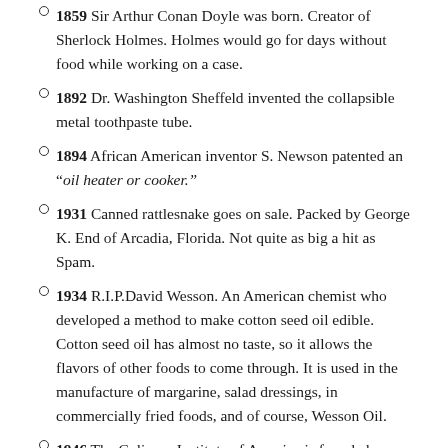1859 Sir Arthur Conan Doyle was born. Creator of Sherlock Holmes. Holmes would go for days without food while working on a case.
1892 Dr. Washington Sheffeld invented the collapsible metal toothpaste tube.
1894 African American inventor S. Newson patented an "oil heater or cooker."
1931 Canned rattlesnake goes on sale. Packed by George K. End of Arcadia, Florida. Not quite as big a hit as Spam.
1934 R.I.P.David Wesson. An American chemist who developed a method to make cotton seed oil edible. Cotton seed oil has almost no taste, so it allows the flavors of other foods to come through. It is used in the manufacture of margarine, salad dressings, in commercially fried foods, and of course, Wesson Oil.
1946 The Culinary Institute of America is founded.
Share Me:
[Figure (illustration): Facebook and Twitter social sharing icons]